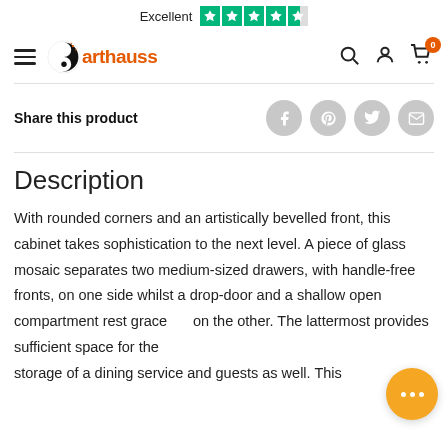Excellent [Trustpilot 4.5 stars]
[Figure (logo): Arthauss furniture brand logo with yin-yang style icon and orange text]
Share this product
Description
With rounded corners and an artistically bevelled front, this cabinet takes sophistication to the next level. A piece of glass mosaic separates two medium-sized drawers, with handle-free fronts, on one side whilst a drop-door and a shallow open compartment rest gracefully on the other. The lattermost provides sufficient space for the storage of a dining service and guests as well. This